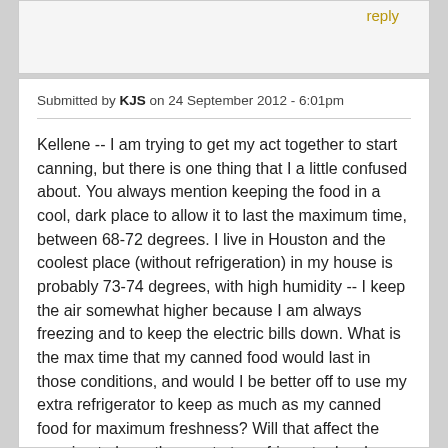reply
Submitted by KJS on 24 September 2012 - 6:01pm
Kellene -- I am trying to get my act together to start canning, but there is one thing that I a little confused about. You always mention keeping the food in a cool, dark place to allow it to last the maximum time, between 68-72 degrees. I live in Houston and the coolest place (without refrigeration) in my house is probably 73-74 degrees, with high humidity -- I keep the air somewhat higher because I am always freezing and to keep the electric bills down. What is the max time that my canned food would last in those conditions, and would I be better off to use my extra refrigerator to keep as much as my canned food for maximum freshness? Will that affect the canning to have the meat at a refrigerator level